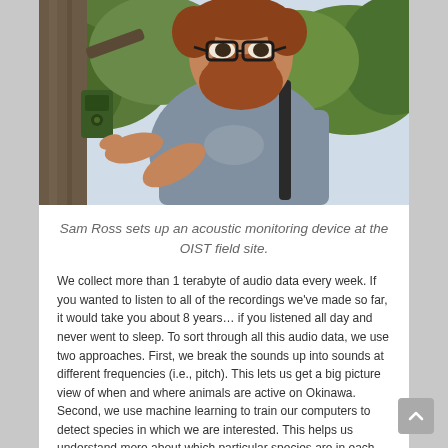[Figure (photo): A man with glasses and a red beard wearing a grey t-shirt and backpack strap, setting up a green acoustic monitoring device attached to a tree trunk, with green trees and foliage in the background.]
Sam Ross sets up an acoustic monitoring device at the OIST field site.
We collect more than 1 terabyte of audio data every week. If you wanted to listen to all of the recordings we've made so far, it would take you about 8 years… if you listened all day and never went to sleep. To sort through all this audio data, we use two approaches. First, we break the sounds up into sounds at different frequencies (i.e., pitch). This lets us get a big picture view of when and where animals are active on Okinawa. Second, we use machine learning to train our computers to detect species in which we are interested. This helps us understand more about which particular species are in each area of the island, and how their behavior varies across the year.